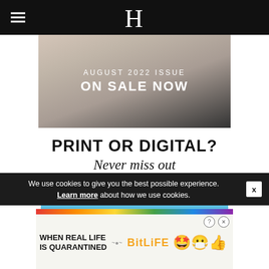H
[Figure (photo): Magazine cover or digital device showing 'AUGUST 2022 ISSUE ON SALE NOW' text overlay on a light background]
PRINT OR DIGITAL?
Never miss out
Digital Subscription
We use cookies to give you the best possible experience. Learn more about how we use cookies.
[Figure (illustration): BitLife advertisement banner with rainbow stripe, text 'WHEN REAL LIFE IS QUARANTINED', BitLife logo, and emoji characters]